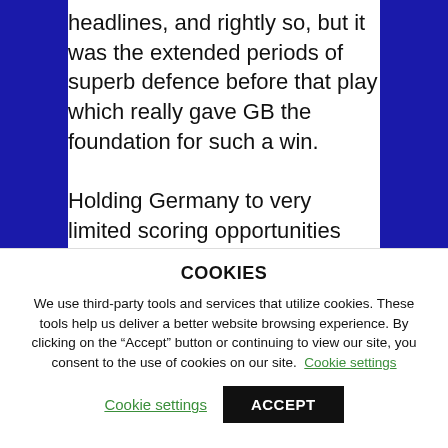headlines, and rightly so, but it was the extended periods of superb defence before that play which really gave GB the foundation for such a win.

Holding Germany to very limited scoring opportunities and getting many defensive stops in the closing
COOKIES
We use third-party tools and services that utilize cookies. These tools help us deliver a better website browsing experience. By clicking on the “Accept” button or continuing to view our site, you consent to the use of cookies on our site. Cookie settings